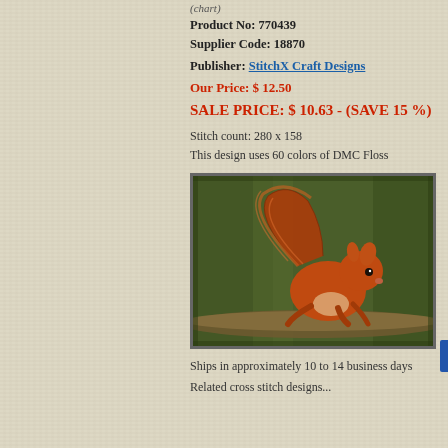(chart)
Product No: 770439
Supplier Code: 18870
Publisher: StitchX Craft Designs
Our Price: $ 12.50
SALE PRICE: $ 10.63 - (SAVE 15 %)
Stitch count: 280 x 158
This design uses 60 colors of DMC Floss
[Figure (photo): Cross stitch design preview showing a red squirrel on a branch against a green background]
Ships in approximately 10 to 14 business days
Related cross stitch designs... (additional links)